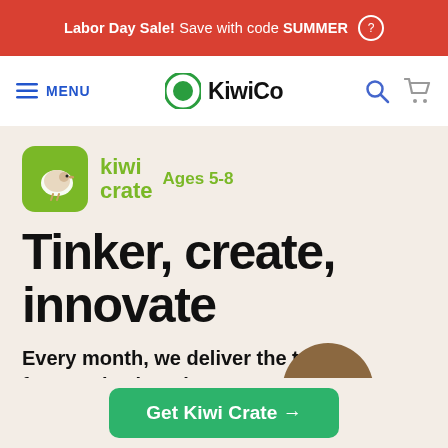Labor Day Sale! Save with code SUMMER
≡ MENU  KiwiCo
[Figure (logo): Kiwi Crate logo icon: green rounded square with white kiwi bird illustration, beside green text 'kiwi crate' and olive text 'Ages 5-8']
Tinker, create, innovate
Every month, we deliver the tools for creative learning
[Figure (photo): Partial view of a child's head from above, appearing at the bottom of the main content area]
Get Kiwi Crate →